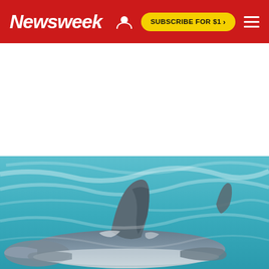Newsweek — SUBSCRIBE FOR $1 >
[Figure (photo): Aerial/surface view of a great white shark swimming near the ocean surface, with its dorsal fin and back visible above the turquoise-blue water. A second smaller fin is visible in the upper right background.]